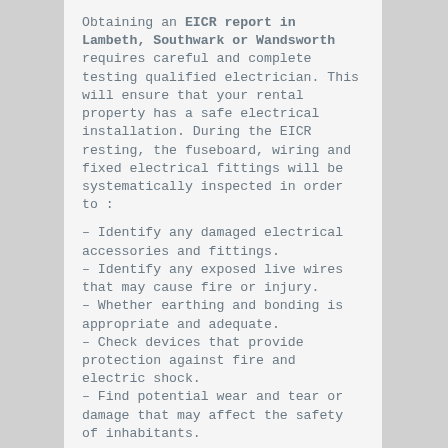Obtaining an EICR report in Lambeth, Southwark or Wandsworth requires careful and complete testing qualified electrician. This will ensure that your rental property has a safe electrical installation. During the EICR resting, the fuseboard, wiring and fixed electrical fittings will be systematically inspected in order to :
– Identify any damaged electrical accessories and fittings.
– Identify any exposed live wires that may cause fire or injury.
– Whether earthing and bonding is appropriate and adequate.
– Check devices that provide protection against fire and electric shock.
– Find potential wear and tear or damage that may affect the safety of inhabitants.